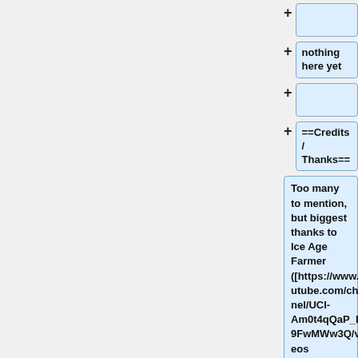(empty box 1)
nothing here yet
(empty box 3)
==Credits / Thanks==
Too many to mention, but biggest thanks to Ice Age Farmer ([https://www.youtube.com/channel/UCI-Am0t4qQaP_Do9FwMWw3Q/videos Youtube] & [http://wiki.iceagefarmer.com/this_Wiki])